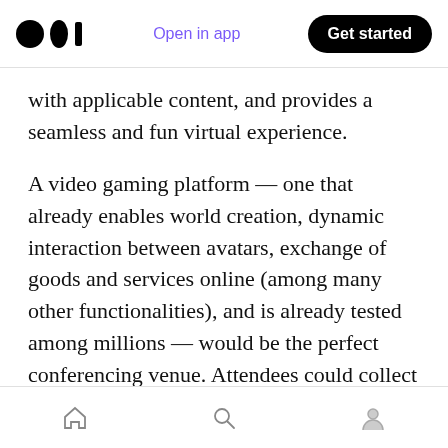Medium logo | Open in app | Get started
with applicable content, and provides a seamless and fun virtual experience.
A video gaming platform — one that already enables world creation, dynamic interaction between avatars, exchange of goods and services online (among many other functionalities), and is already tested among millions — would be the perfect conferencing venue. Attendees could collect badges at a professional development workshop or encounter peers at a virtual café.
So we thought we'd try it.
Home | Search | Profile